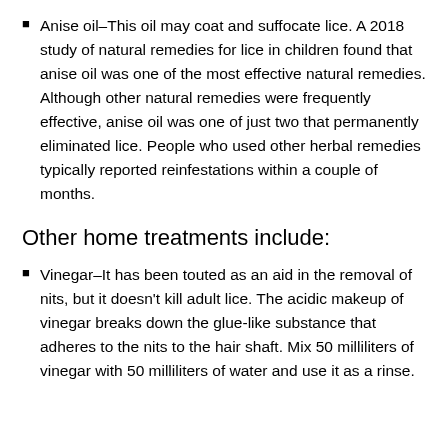Anise oil–This oil may coat and suffocate lice. A 2018 study of natural remedies for lice in children found that anise oil was one of the most effective natural remedies. Although other natural remedies were frequently effective, anise oil was one of just two that permanently eliminated lice. People who used other herbal remedies typically reported reinfestations within a couple of months.
Other home treatments include:
Vinegar–It has been touted as an aid in the removal of nits, but it doesn't kill adult lice. The acidic makeup of vinegar breaks down the glue-like substance that adheres to the nits to the hair shaft. Mix 50 milliliters of vinegar with 50 milliliters of water and use it as a rinse.